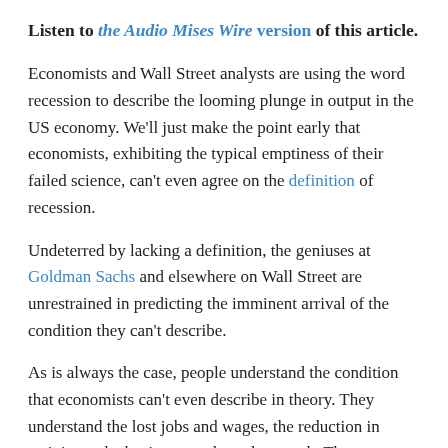Listen to the Audio Mises Wire version of this article.
Economists and Wall Street analysts are using the word recession to describe the looming plunge in output in the US economy. We'll just make the point early that economists, exhibiting the typical emptiness of their failed science, can't even agree on the definition of recession.
Undeterred by lacking a definition, the geniuses at Goldman Sachs and elsewhere on Wall Street are unrestrained in predicting the imminent arrival of the condition they can't describe.
As is always the case, people understand the condition that economists can't even describe in theory. They understand the lost jobs and wages, the reduction in activity at the businesses where they work. They understand fewer shifts, fewer hours, a smaller paycheck, or layoffs or furloughs, unemployment, and the need to ask the government for handouts to get by and to feed their families, when they'd rather be helping themselves.